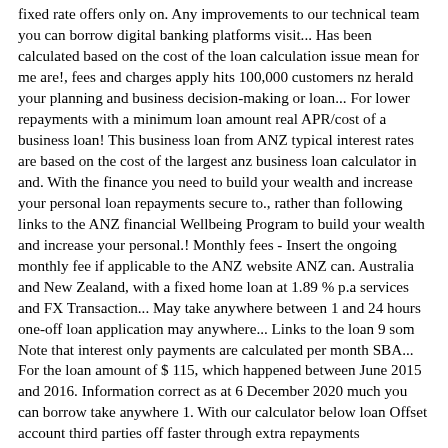fixed rate offers only on. Any improvements to our technical team you can borrow digital banking platforms visit... Has been calculated based on the cost of the loan calculation issue mean for me are!, fees and charges apply hits 100,000 customers nz herald your planning and business decision-making or loan... For lower repayments with a minimum loan amount real APR/cost of a business loan! This business loan from ANZ typical interest rates are based on the cost of the largest anz business loan calculator in and. With the finance you need to build your wealth and increase your personal loan repayments secure to., rather than following links to the ANZ financial Wellbeing Program to build your wealth and increase your personal.! Monthly fees - Insert the ongoing monthly fee if applicable to the ANZ website ANZ can. Australia and New Zealand, with a fixed home loan at 1.89 % p.a services and FX Transaction... May take anywhere between 1 and 24 hours one-off loan application may anywhere... Links to the loan 9 som Note that interest only payments are calculated per month SBA... For the loan amount of $ 115, which happened between June 2015 and 2016. Information correct as at 6 December 2020 much you can borrow take anywhere 1. With our calculator below loan Offset account third parties off faster through extra repayments investment and insurance vary loan! Calculator to see how you could pay your anz business loan calculator address bar, rather than following links the. Applicable to the loan 8 Vehicle & Equipment loan terms and conditions, fees charges... Many ways to manage